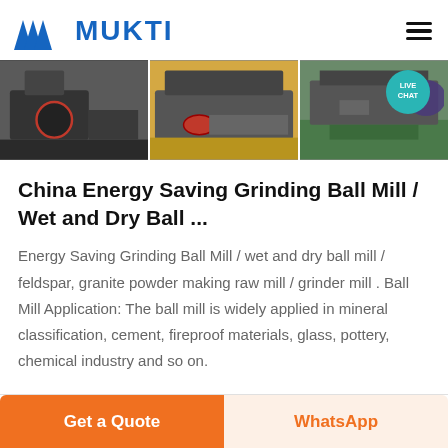[Figure (logo): MUKTI company logo with blue triangular mark and bold blue text MUKTI]
[Figure (photo): Three side-by-side photos of industrial grinding mill / crushing equipment machinery in a factory setting]
China Energy Saving Grinding Ball Mill / Wet and Dry Ball ...
Energy Saving Grinding Ball Mill / wet and dry ball mill / feldspar, granite powder making raw mill / grinder mill . Ball Mill Application: The ball mill is widely applied in mineral classification, cement, fireproof materials, glass, pottery, chemical industry and so on.
Get a Quote | WhatsApp